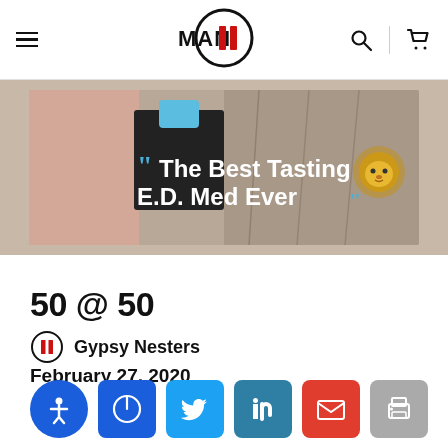MAN II - navigation header with hamburger menu, logo, search and cart icons
[Figure (photo): Banner advertisement showing ED medication product with text: "The Best Tasting E.D. Med Ever" with a lion logo on the right side, on a fabric/clothing background]
50 @ 50
Gypsy Nesters
February 27, 2020
[Figure (infographic): Social sharing buttons row: accessibility icon (blue circle), Twitter (blue), LinkedIn (teal), Email (red), Print (gray)]